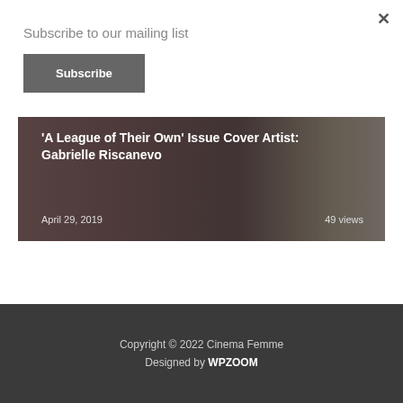Subscribe to our mailing list
Subscribe
[Figure (photo): Article card with photo of a person smiling, wearing a colorful scarf, with dark overlay. Title: ‘A League of Their Own’ Issue Cover Artist: Gabrielle Riscanevo. Date: April 29, 2019. Views: 49 views.]
‘A League of Their Own’ Issue Cover Artist: Gabrielle Riscanevo
April 29, 2019
49 views
Copyright © 2022 Cinema Femme
Designed by WPZOOM